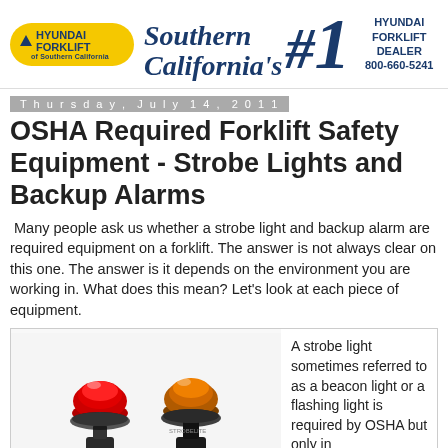[Figure (logo): Hyundai Forklift of Southern California logo (yellow pill shape with triangle and text), Southern California's #1 Hyundai Forklift Dealer, 800-660-5241]
Thursday, July 14, 2011
OSHA Required Forklift Safety Equipment - Strobe Lights and Backup Alarms
Many people ask us whether a strobe light and backup alarm are required equipment on a forklift. The answer is not always clear on this one. The answer is it depends on the environment you are working in. What does this mean? Let's look at each piece of equipment.
[Figure (photo): Two strobe/beacon lights — one red on left and one amber/orange on right — forklift safety lights]
A strobe light sometimes referred to as a beacon light or a flashing light is required by OSHA but only in